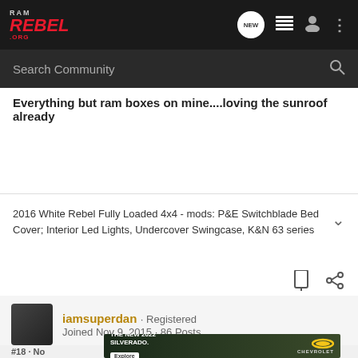RAM REBEL .ORG — NEW [icon] [icon] [icon]
Search Community
Everything but ram boxes on mine....loving the sunroof already
2016 White Rebel Fully Loaded 4x4 - mods: P&E Switchblade Bed Cover; Interior Led Lights, Undercover Swingcase, K&N 63 series
iamsuperdan · Registered
Joined Nov 9, 2015 · 86 Posts
#18 · No
[Figure (photo): Chevrolet Silverado 2022 advertisement banner with truck image, 'THE NEW 2022 SILVERADO.' text and Explore button]